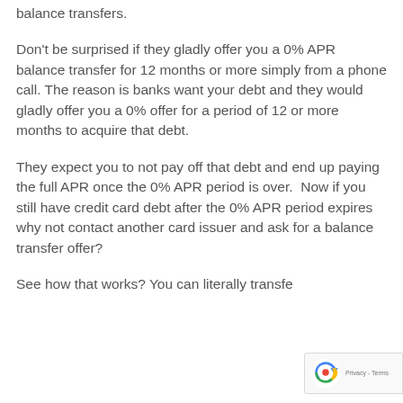balance transfers.
Don't be surprised if they gladly offer you a 0% APR balance transfer for 12 months or more simply from a phone call. The reason is banks want your debt and they would gladly offer you a 0% offer for a period of 12 or more months to acquire that debt.
They expect you to not pay off that debt and end up paying the full APR once the 0% APR period is over. Now if you still have credit card debt after the 0% APR period expires why not contact another card issuer and ask for a balance transfer offer?
See how that works? You can literally transfe…